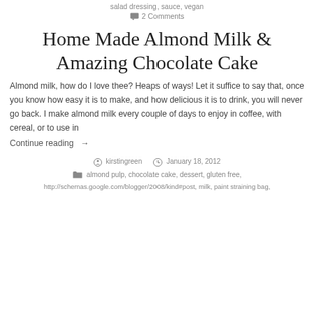salad dressing, sauce, vegan
2 Comments
Home Made Almond Milk & Amazing Chocolate Cake
Almond milk, how do I love thee? Heaps of ways! Let it suffice to say that, once you know how easy it is to make, and how delicious it is to drink, you will never go back. I make almond milk every couple of days to enjoy in coffee, with cereal, or to use in
Continue reading →
kirstingreen   January 18, 2012
almond pulp, chocolate cake, dessert, gluten free,
http://schemas.google.com/blogger/2008/kind#post, milk, paint straining bag,